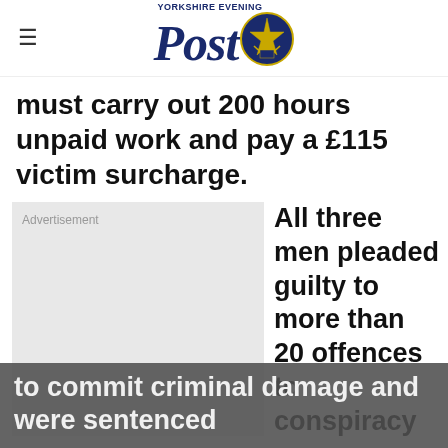Yorkshire Evening Post
must carry out 200 hours unpaid work and pay a £115 victim surcharge.
[Figure (other): Advertisement placeholder box with 'Advertisement' label]
All three men pleaded guilty to more than 20 offences to conspiracy to commit criminal damage and were sentenced